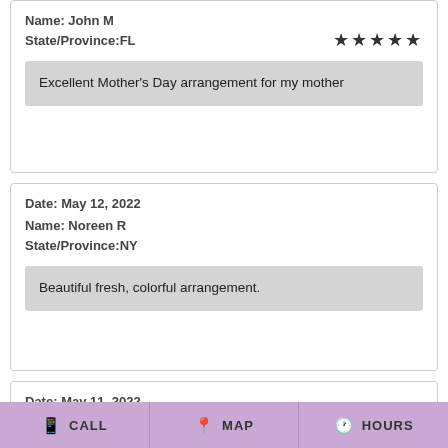Name: John M
State/Province:FL
Excellent Mother's Day arrangement for my mother
Date: May 12, 2022
Name: Noreen R
State/Province:NY
Beautiful fresh, colorful arrangement.
Date: May 11, 2022
CALL   MAP   HOURS